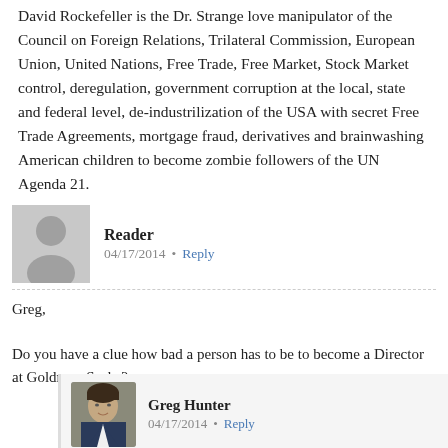David Rockefeller is the Dr. Strange love manipulator of the Council on Foreign Relations, Trilateral Commission, European Union, United Nations, Free Trade, Free Market, Stock Market control, deregulation, government corruption at the local, state and federal level, de-industrilization of the USA with secret Free Trade Agreements, mortgage fraud, derivatives and brainwashing American children to become zombie followers of the UN Agenda 21.
Reader — 04/17/2014 • Reply
Greg,
Do you have a clue how bad a person has to be to become a Director at Goldman Sachs?
[Figure (photo): Gray placeholder avatar image of a person silhouette for user 'Reader']
Greg Hunter — 04/17/2014 • Reply
Reader,
Do you know how lucky we are to
[Figure (photo): Photo of Greg Hunter, a man in a suit]